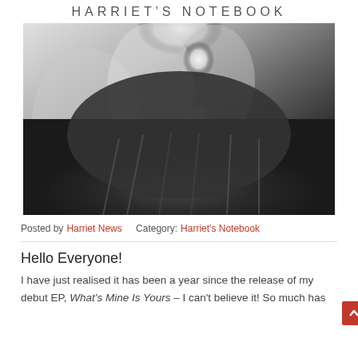HARRIET'S NOTEBOOK
[Figure (photo): Black and white portrait photo of a blonde woman wearing a dark cable-knit turtleneck sweater, looking to one side, outdoors.]
Posted by Harriet News   Category: Harriet's Notebook
Hello Everyone!
I have just realised it has been a year since the release of my debut EP, What's Mine Is Yours – I can't believe it! So much has